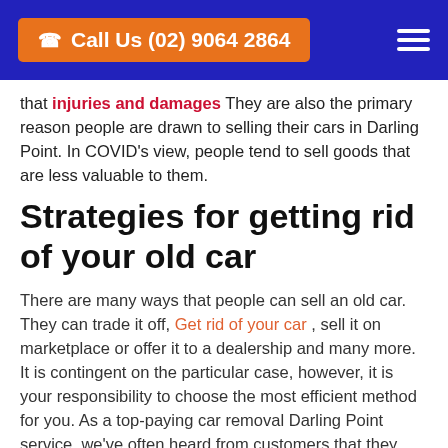Call Us (02) 9064 2864
that injuries and damages They are also the primary reason people are drawn to selling their cars in Darling Point. In COVID's view, people tend to sell goods that are less valuable to them.
Strategies for getting rid of your old car
There are many ways that people can sell an old car. They can trade it off, Get rid of your car , sell it on marketplace or offer it to a dealership and many more. It is contingent on the particular case, however, it is your responsibility to choose the most efficient method for you. As a top-paying car removal Darling Point service, we've often heard from customers that they made the right choice by